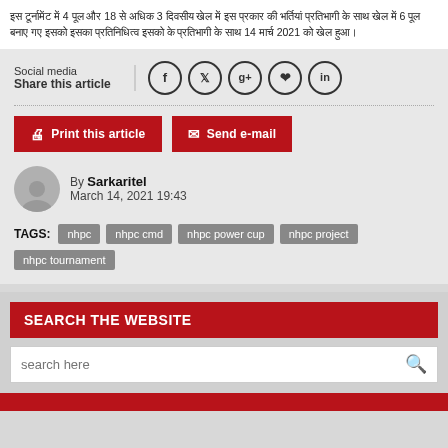इस टूर्नामेंट में 4 पूल और 18 से अधिक 3 दिवसीय खेल में इस प्रकार की भर्तियां प्रतिभागी के साथ खेल में 6 पूल बनाए गए इसको इसका प्रतिनिधित्व इसको के प्रतिभागी के साथ 14 मार्च 2021 को खेल हुआ।
Social media
Share this article
Print this article  Send e-mail
By Sarkaritel
March 14, 2021 19:43
TAGS: nhpc  nhpc cmd  nhpc power cup  nhpc project  nhpc tournament
SEARCH THE WEBSITE
search here